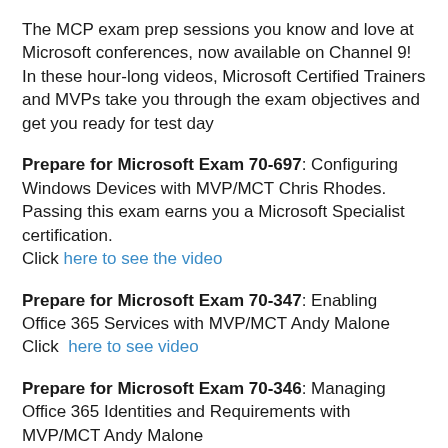The MCP exam prep sessions you know and love at Microsoft conferences, now available on Channel 9! In these hour-long videos, Microsoft Certified Trainers and MVPs take you through the exam objectives and get you ready for test day
Prepare for Microsoft Exam 70-697: Configuring Windows Devices with MVP/MCT Chris Rhodes. Passing this exam earns you a Microsoft Specialist certification. Click here to see the video
Prepare for Microsoft Exam 70-347: Enabling Office 365 Services with MVP/MCT Andy Malone Click here to see video
Prepare for Microsoft Exam 70-346: Managing Office 365 Identities and Requirements with MVP/MCT Andy Malone click here to see video
Prepare for Microsoft Exam 70-532: Developing Microsoft Azure Solutions with Sidney Andrews, Microsoft Certified Trainer